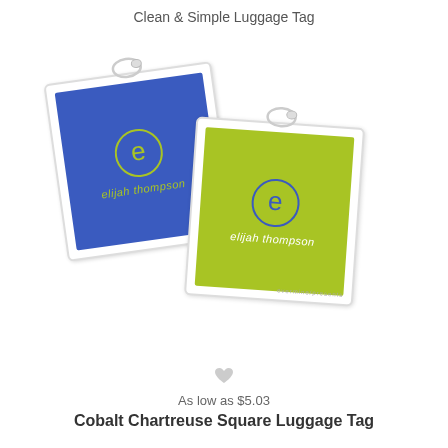Clean & Simple Luggage Tag
[Figure (photo): Two square luggage tags with 'e' monogram initial in a circle and 'elijah thompson' name text. One tag has cobalt blue background with chartreuse text, the other has chartreuse/yellow-green background with cobalt blue text. Both tags have clear plastic loops/cords attached at top.]
As low as $5.03
Cobalt Chartreuse Square Luggage Tag